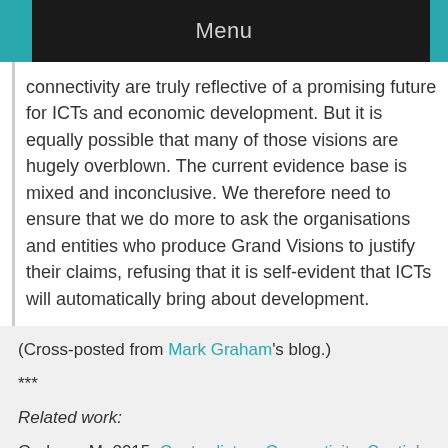Menu
connectivity are truly reflective of a promising future for ICTs and economic development. But it is equally possible that many of those visions are hugely overblown. The current evidence base is mixed and inconclusive. We therefore need to ensure that we do more to ask the organisations and entities who produce Grand Visions to justify their claims, refusing that it is self-evident that ICTs will automatically bring about development.
(Cross-posted from Mark Graham's blog.)
***
Related work:
Graham, M. 2015. Contradictory Connectivity: Spatial